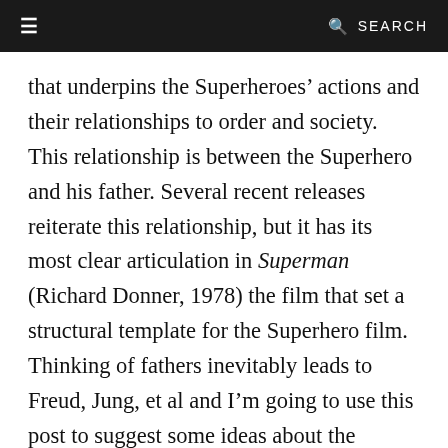≡   🔍 SEARCH
that underpins the Superheroes' actions and their relationships to order and society. This relationship is between the Superhero and his father. Several recent releases reiterate this relationship, but it has its most clear articulation in Superman (Richard Donner, 1978) the film that set a structural template for the Superhero film. Thinking of fathers inevitably leads to Freud, Jung, et al and I'm going to use this post to suggest some ideas about the relationship between the Superhero and his father. The psychoanalytic ideas I shall refer to are those of the Symbolic Order and the Father Complex to highlight an essential structural element of this style of film. By investigating this we will see how the structure of the Super-Hero film hinges on the